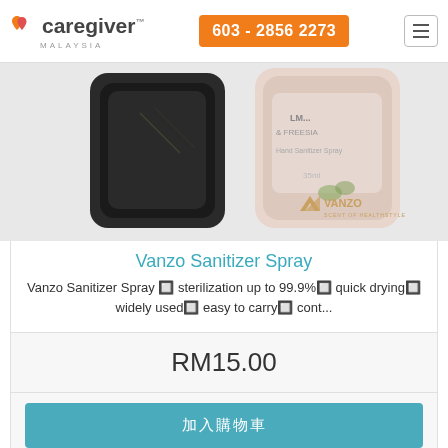caregiver MALAYSIA | 603 - 2856 2273
[Figure (photo): Product photo showing two Vanzo hand sanitizer spray bottles, one dark/black and one light/pink, with 'VANZO SCENT OF HEALTHSTYLE' brand logo visible]
Vanzo Sanitizer Spray
Vanzo Sanitizer Spray – sterilization up to 99.9%– quick drying– widely used– easy to carry– cont...
RM15.00
加入购物车